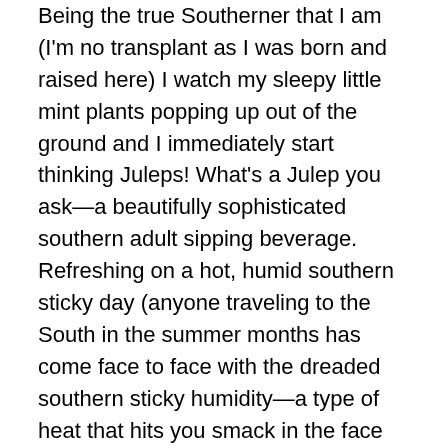Being the true Southerner that I am (I'm no transplant as I was born and raised here) I watch my sleepy little mint plants popping up out of the ground and I immediately start thinking Juleps! What's a Julep you ask—a beautifully sophisticated southern adult sipping beverage. Refreshing on a hot, humid southern sticky day (anyone traveling to the South in the summer months has come face to face with the dreaded southern sticky humidity—a type of heat that hits you smack in the face and sucks the life out of you. Making it difficult to breath, it can trigger health warnings and does a terrible number on one's hair—but there I go digressing again…)

It is important to find something, anything to soothe the southern sticky humidity and a Julep is an age-old remedy. It is also a precursor to the most famous of horse races,